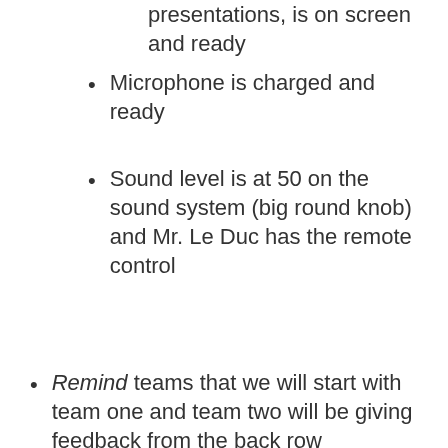presentations, is on screen and ready
Microphone is charged and ready
Sound level is at 50 on the sound system (big round knob) and Mr. Le Duc has the remote control
Remind teams that we will start with team one and team two will be giving feedback from the back row
IDO
Prep front computer for student peer review
Be time keeper